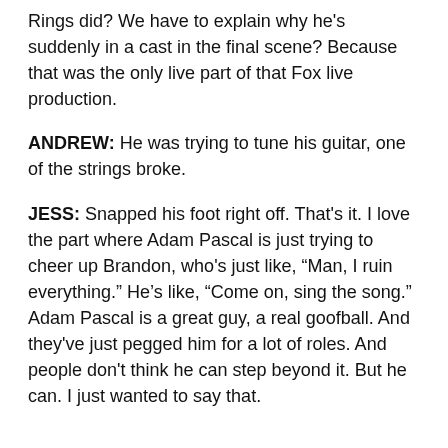Rings did? We have to explain why he's suddenly in a cast in the final scene? Because that was the only live part of that Fox live production.
ANDREW: He was trying to tune his guitar, one of the strings broke.
JESS: Snapped his foot right off. That's it. I love the part where Adam Pascal is just trying to cheer up Brandon, who's just like, “Man, I ruin everything.” He’s like, “Come on, sing the song.” Adam Pascal is a great guy, a real goofball. And they've just pegged him for a lot of roles. And people don't think he can step beyond it. But he can. I just wanted to say that.